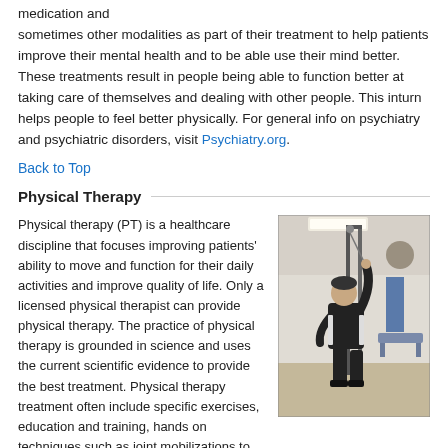medication and sometimes other modalities as part of their treatment to help patients improve their mental health and to be able use their mind better. These treatments result in people being able to function better at taking care of themselves and dealing with other people. This inturn helps people to feel better physically. For general info on psychiatry and psychiatric disorders, visit Psychiatry.org.
Back to Top
Physical Therapy
Physical therapy (PT) is a healthcare discipline that focuses improving patients' ability to move and function for their daily activities and improve quality of life. Only a licensed physical therapist can provide physical therapy. The practice of physical therapy is grounded in science and uses the current scientific evidence to provide the best treatment. Physical therapy treatment often include specific exercises, education and training, hands on techniques such as joint mobilizations to decrease stiffness, and modalities just to name a few. Which treatments are right for your will be
[Figure (photo): A man in a physical therapy gym using cable exercise equipment, reaching upward with one arm. Exercise balls and other equipment visible in background.]